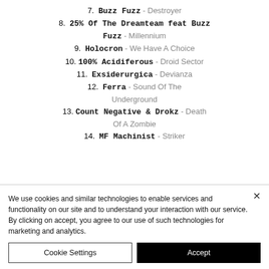7. Buzz Fuzz - Destroyer
8. 25% Of The Dreamteam feat Buzz Fuzz - Millennium
9. Holocron - We Have A Choice
10. 100% Acidiferous - Droid Sector
11. Exsiderurgica - Devianza
12. Ferra - Sound Of The Underground
13. Count Negative & Drokz - Death Of A Zombie
14. MF Machinist - Striker
We use cookies and similar technologies to enable services and functionality on our site and to understand your interaction with our service. By clicking on accept, you agree to our use of such technologies for marketing and analytics.